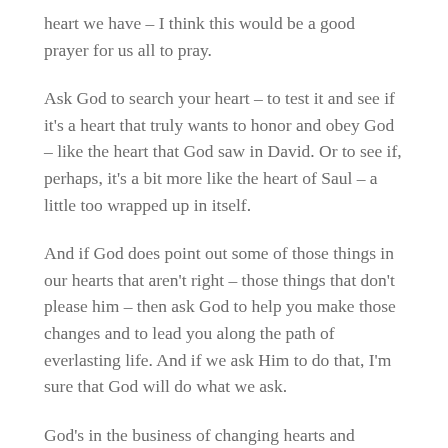heart we have – I think this would be a good prayer for us all to pray.
Ask God to search your heart – to test it and see if it's a heart that truly wants to honor and obey God – like the heart that God saw in David. Or to see if, perhaps, it's a bit more like the heart of Saul – a little too wrapped up in itself.
And if God does point out some of those things in our hearts that aren't right – those things that don't please him – then ask God to help you make those changes and to lead you along the path of everlasting life. And if we ask Him to do that, I'm sure that God will do what we ask.
God's in the business of changing hearts and changing lives! He would love nothing more than to work in your life and to transform you into a